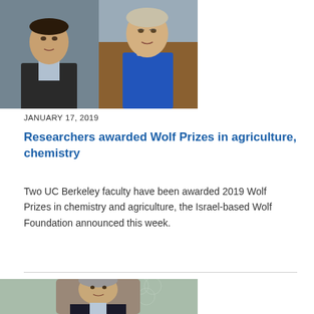[Figure (photo): Two UC Berkeley faculty headshots side by side - man in dark suit on left, woman in blue top with brown jacket on right]
JANUARY 17, 2019
Researchers awarded Wolf Prizes in agriculture, chemistry
Two UC Berkeley faculty have been awarded 2019 Wolf Prizes in chemistry and agriculture, the Israel-based Wolf Foundation announced this week.
[Figure (photo): UC Berkeley faculty member headshot - man with graying hair in dark suit, against green background with geometric pattern]